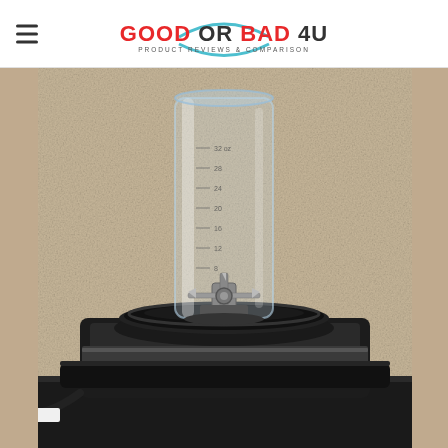Good Or Bad 4U — Product Reviews & Comparison
[Figure (photo): A Ninja blender with a clear tall plastic cup/jar containing a blade assembly, sitting on a black Ninja motor base. The blender is photographed against a beige/tan textured wall background on a dark surface. The word NINJA is visible on the motor base.]